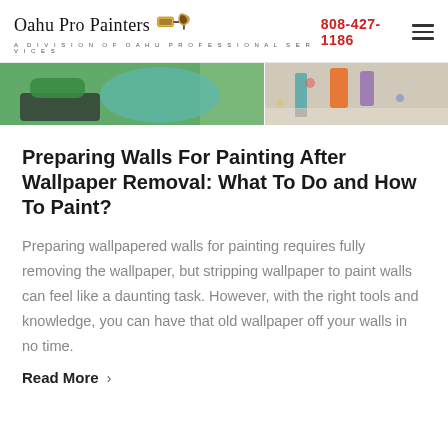Oahu Pro Painters — A DIVISION OF OAHU PROFESSIONAL SERVICES | 808-427-1186
[Figure (photo): Top portion of a hero image showing painting tools including green paint rollers, brushes, and colorful paint supplies on a surface]
Preparing Walls For Painting After Wallpaper Removal: What To Do and How To Paint?
Preparing wallpapered walls for painting requires fully removing the wallpaper, but stripping wallpaper to paint walls can feel like a daunting task. However, with the right tools and knowledge, you can have that old wallpaper off your walls in no time.
Read More →